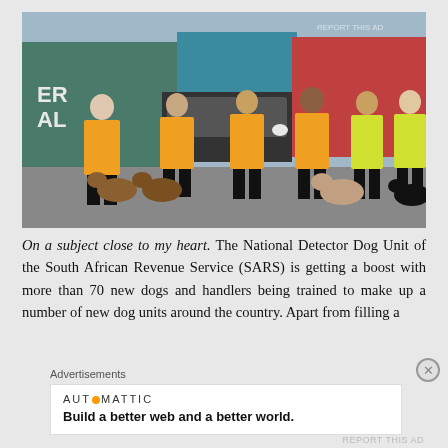[Figure (photo): Six uniformed workers in yellow and orange high-visibility vests posing with several dogs at what appears to be a port or cargo facility with shipping containers in the background. Dogs include German Shepherds, a St. Bernard/large dog, and a black Labrador.]
On a subject close to my heart. The National Detector Dog Unit of the South African Revenue Service (SARS) is getting a boost with more than 70 new dogs and handlers being trained to make up a number of new dog units around the country. Apart from filling a
Advertisements
AUTOMATTIC
Build a better web and a better world.